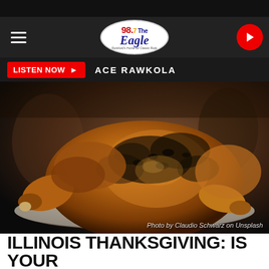98.7 The Eagle — Navigation bar with hamburger menu, logo, and play button
LISTEN NOW ▶  ACE RAWKOLA
[Figure (photo): Roasted Thanksgiving turkey on a plate with herb crust, warm brown tones, dark background. Photo credit: Photo by Claudio Schwarz on Unsplash]
Photo by Claudio Schwarz on Unsplash
ILLINOIS THANKSGIVING: IS YOUR